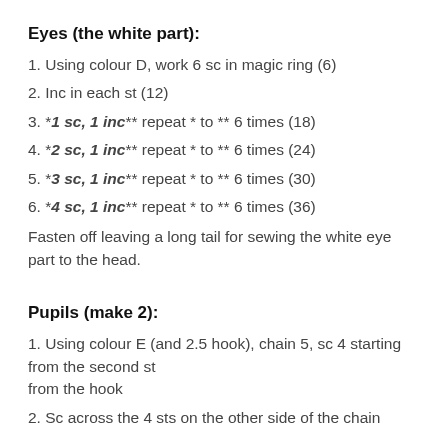Eyes (the white part):
1. Using colour D, work 6 sc in magic ring (6)
2. Inc in each st (12)
3. *1 sc, 1 inc** repeat * to ** 6 times (18)
4. *2 sc, 1 inc** repeat * to ** 6 times (24)
5. *3 sc, 1 inc** repeat * to ** 6 times (30)
6. *4 sc, 1 inc** repeat * to ** 6 times (36)
Fasten off leaving a long tail for sewing the white eye part to the head.
Pupils (make 2):
1. Using colour E (and 2.5 hook), chain 5, sc 4 starting from the second st from the hook
2. Sc across the 4 sts on the other side of the chain